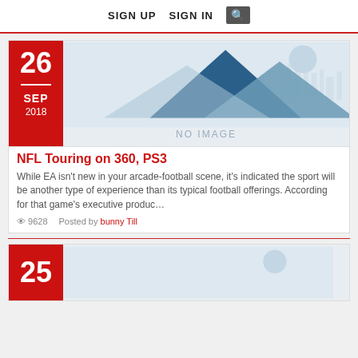SIGN UP   SIGN IN   🔍
[Figure (illustration): No image placeholder with mountain silhouette illustration on light blue background]
NFL Touring on 360, PS3
While EA isn't new in your arcade-football scene, it's indicated the sport will be another type of experience than its typical football offerings. According for that game's executive produc…
👁 9628   Posted by bunny Till
[Figure (illustration): Partial second article card with date 25, no image placeholder]